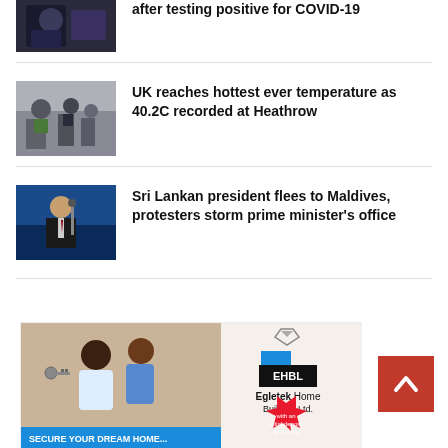[Figure (photo): Partial news article thumbnail - person at an event]
after testing positive for COVID-19
[Figure (photo): News article thumbnail - group of people standing outdoors]
UK reaches hottest ever temperature as 40.2C recorded at Heathrow
[Figure (photo): News article thumbnail - man in suit at podium]
Sri Lankan president flees to Maldives, protesters storm prime minister's office
[Figure (photo): Advertisement for Egletek Home Builders Ltd. - couple receiving house keys, with text: SECURE YOUR DREAM HOME... with an initial deposit as low as ₦13M. EHBL logo shown.]